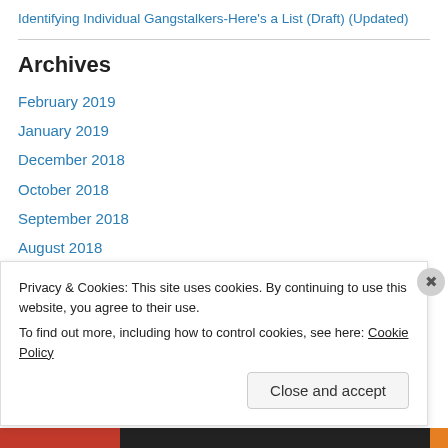Identifying Individual Gangstalkers-Here's a List (Draft) (Updated)
Archives
February 2019
January 2019
December 2018
October 2018
September 2018
August 2018
April 2018
March 2018
Privacy & Cookies: This site uses cookies. By continuing to use this website, you agree to their use.
To find out more, including how to control cookies, see here: Cookie Policy
Close and accept